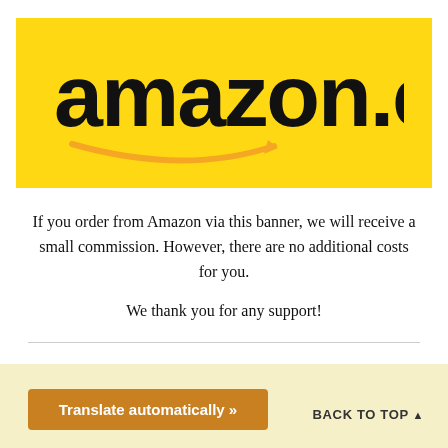[Figure (logo): Amazon.com logo on yellow background with orange arrow smile underneath]
If you order from Amazon via this banner, we will receive a small commission. However, there are no additional costs for you.
We thank you for any support!
Translate automatically »
BACK TO TOP